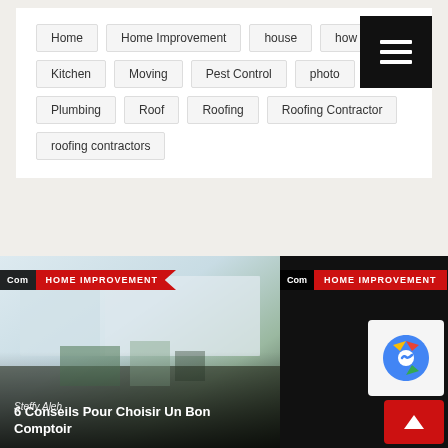Home
Home Improvement
house
how to
Kitchen
Moving
Pest Control
photo
Plumbing
Roof
Roofing
Roofing Contractor
roofing contractors
[Figure (screenshot): Article card with kitchen photo, author Steffy Aleh, title '6 Conseils Pour Choisir Un Bon Comptoir', with HOME IMPROVEMENT badge]
[Figure (screenshot): Partial article card with dark background and HOME IMPROVEMENT badge, plus reCAPTCHA logo and scroll-to-top button]